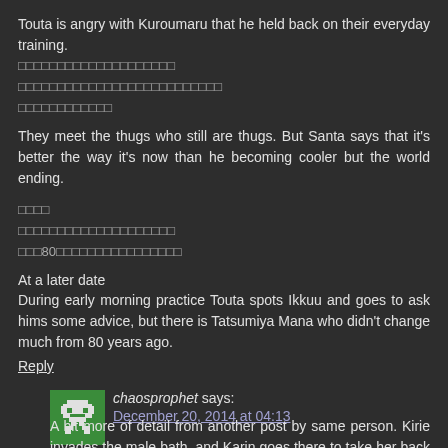Touta is angry with Kuroumaru that he held back on their everyday training.
□□□□□□□□□□□□□□□□□□□□
□□□□□□□□□□□□□□□□□□□□□□□□□□
□□□□□□□□□□□□
They meet the thugs who still are thugs. But Santa says that it's better the way it's now than he becoming cooler but the world ending.
□□□□
□□□□□□□□□□□□□□□□□□□□
□□□80□□□□□□□□□□□□□□□□
At a later date
During early morning practice Touta spots Ikkuu and goes to ask hims some advice, but there is Tatsumiya Mana who didn't change much from 80 years ago.
Reply
chaosprophet says:
December 20, 2014 at 04:13
A bit more of detail from another post by same person. Kirie invades the male bath, and Karin goes there to take her back but also get labelled as a pervert.